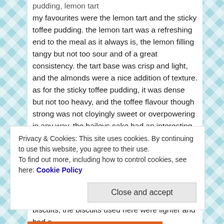pudding, lemon tart my favourites were the lemon tart and the sticky toffee pudding. the lemon tart was a refreshing end to the meal as it always is, the lemon filling tangy but not too sour and of a great consistency. the tart base was crisp and light, and the almonds were a nice addition of texture. as for the sticky toffee pudding, it was dense but not too heavy, and the toffee flavour though strong was not cloyingly sweet or overpowering in any way. the baileys cake had an interesting texture that was a cross between a light cheesecake and a cream cake, but reminded me more of the latter. it was very light and its base was very enjoyable though i would have preferred it to be crunchier – instead of the typical kind of base usually made of digestive biscuits, the biscuits used here were lighter and had a
Privacy & Cookies: This site uses cookies. By continuing to use this website, you agree to their use. To find out more, including how to control cookies, see here: Cookie Policy
Close and accept